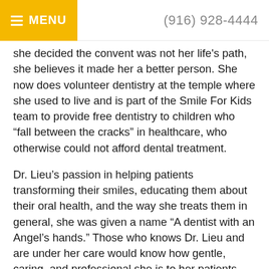MENU   (916) 928-4444
she decided the convent was not her life's path, she believes it made her a better person. She now does volunteer dentistry at the temple where she used to live and is part of the Smile For Kids team to provide free dentistry to children who “fall between the cracks” in healthcare, who otherwise could not afford dental treatment.
Dr. Lieu’s passion in helping patients transforming their smiles, educating them about their oral health, and the way she treats them in general, she was given a name “A dentist with an Angel’s hands.” Those who knows Dr. Lieu and are under her care would know how gentle, caring, and professional she is to her patients. Her goal is